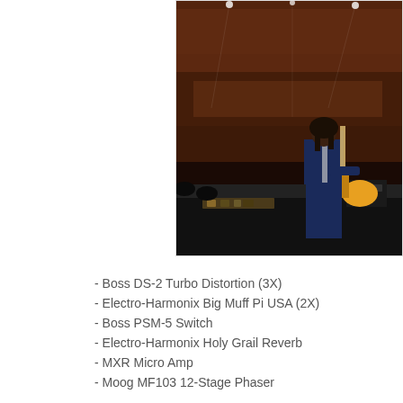[Figure (photo): Concert photo showing a guitarist on stage facing a large crowd. The guitarist is viewed from behind, playing a guitar, with a massive audience visible in the background filling an arena. Equipment and pedals are visible on the stage floor.]
- Boss DS-2 Turbo Distortion (3X)
- Electro-Harmonix Big Muff Pi USA (2X)
- Boss PSM-5 Switch
- Electro-Harmonix Holy Grail Reverb
- MXR Micro Amp
- Moog MF103 12-Stage Phaser
- Ibanez WH-10 V1 (2X)
- Boss CE-1 Chorus Ensemble
- Boss FV-50 Volume
- Z. Vex Fuzz Factory (2X)